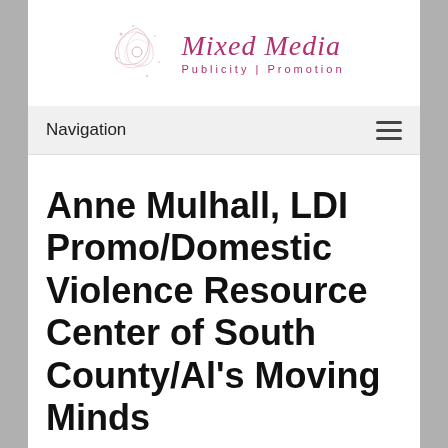[Figure (logo): Mixed Media Publicity | Promotion logo with decorative floral/swirl icon on the left and italic pink script text on the right]
Navigation
Anne Mulhall, LDI Promo/Domestic Violence Resource Center of South County/Al's Moving Minds
Anne Mulhall Web Sites:
LDIPro.com